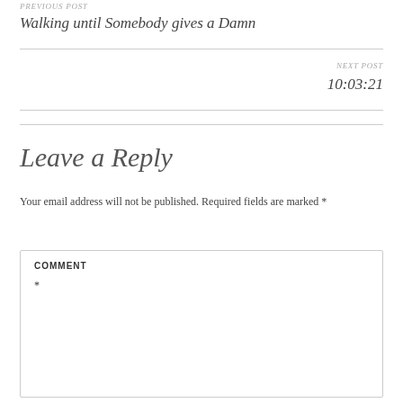PREVIOUS POST
Walking until Somebody gives a Damn
NEXT POST
10:03:21
Leave a Reply
Your email address will not be published. Required fields are marked *
COMMENT
*